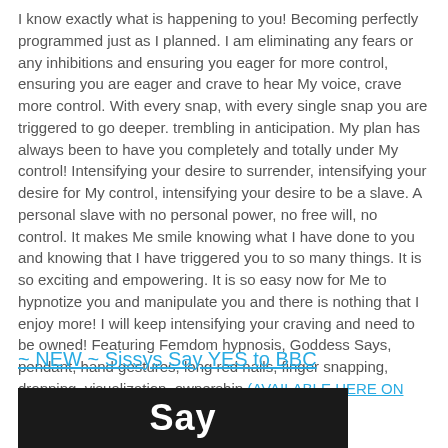I know exactly what is happening to you! Becoming perfectly programmed just as I planned. I am eliminating any fears or any inhibitions and ensuring you eager for more control, ensuring you are eager and crave to hear My voice, crave more control. With every snap, with every single snap you are triggered to go deeper. trembling in anticipation. My plan has always been to have you completely and totally under My control! Intensifying your desire to surrender, intensifying your desire for My control, intensifying your desire to be a slave. A personal slave with no personal power, no free will, no control. It makes Me smile knowing what I have done to you and knowing that I have triggered you to so many things. It is so exciting and empowering. It is so easy now for Me to hypnotize you and manipulate you and there is nothing that I enjoy more! I will keep intensifying your craving and need to be owned! Featuring Femdom hypnosis, Goddess Says, pendant, hand gestures, long red nails, finger snapping, dropping, visualization, ownership (AVAILABLE HERE ON CLIPS4SALE)
~ NEW ~ Sissys Say YES to BBC
[Figure (photo): Dark background image showing text 'Say' in large white bold letters overlaid on a close-up photo]